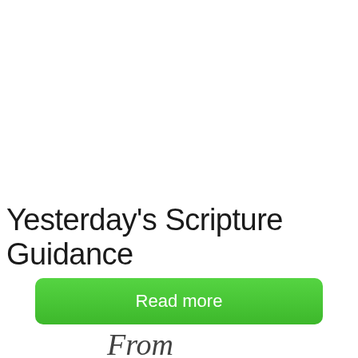Yesterday's Scripture Guidance
Read more
[Figure (illustration): Partial cursive/script text at bottom of page, partially cut off]